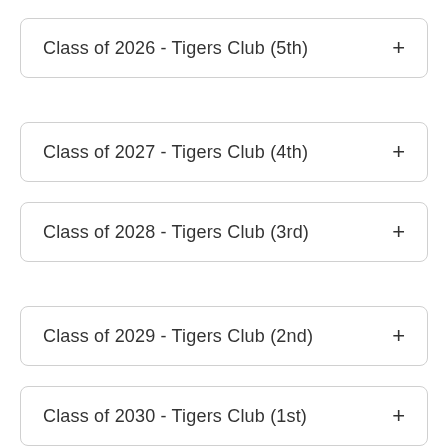Class of 2026 - Tigers Club (5th)
Class of 2027 - Tigers Club (4th)
Class of 2028 - Tigers Club (3rd)
Class of 2029 - Tigers Club (2nd)
Class of 2030 - Tigers Club (1st)